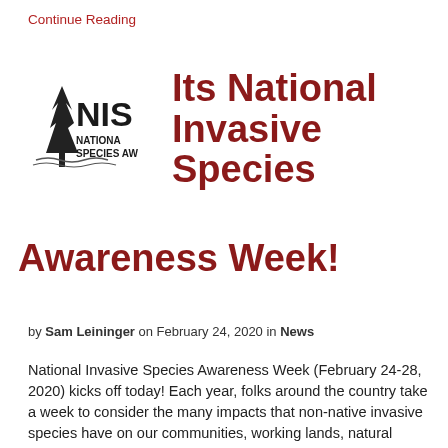Continue Reading
[Figure (logo): NISAW – National Invasive Species Awareness Week logo with tree silhouette and water imagery]
Its National Invasive Species Awareness Week!
by Sam Leininger on February 24, 2020 in News
National Invasive Species Awareness Week (February 24-28, 2020) kicks off today! Each year, folks around the country take a week to consider the many impacts that non-native invasive species have on our communities, working lands, natural areas, and pocketbooks.  So take a moment to celebrate with the WoodWise Program to learn a little more